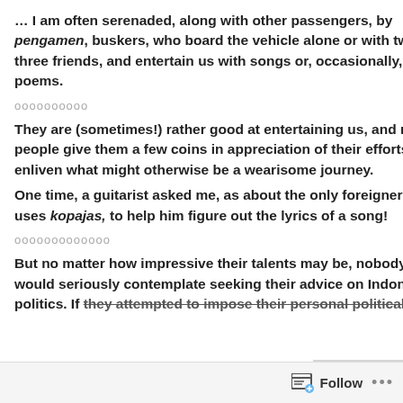… I am often serenaded, along with other passengers, by pengamen, buskers, who board the vehicle alone or with two or three friends, and entertain us with songs or, occasionally, poems.
oooooooooo
They are (sometimes!) rather good at entertaining us, and most people give them a few coins in appreciation of their efforts to enliven what might otherwise be a wearisome journey.
One time, a guitarist asked me, as about the only foreigner who uses kopajas, to help him figure out the lyrics of a song!
ooooooooooooo
But no matter how impressive their talents may be, nobody would seriously contemplate seeking their advice on Indonesian politics. If they attempted to impose their personal political